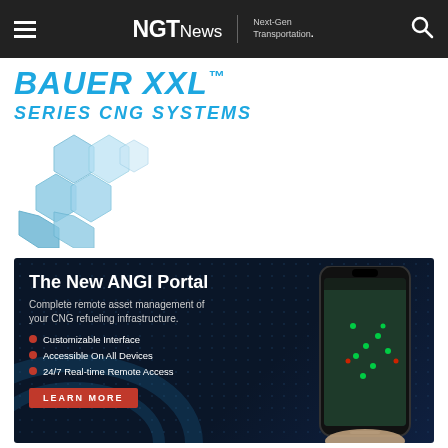NGT News | Next-Gen Transportation.
BAUER XXL™ SERIES CNG SYSTEMS
[Figure (illustration): Blue hexagonal geometric shapes forming a decorative pattern, partial view]
[Figure (infographic): ANGI Portal advertisement banner on dark blue background showing a smartphone with site map app. Text: The New ANGI Portal. Complete remote asset management of your CNG refueling infrastructure. Bullets: Customizable Interface, Accessible On All Devices, 24/7 Real-time Remote Access. Button: LEARN MORE]